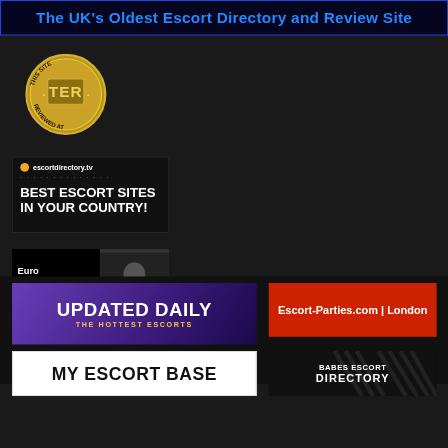[Figure (screenshot): Top banner: UKs Oldest Escort Directory and Review Site in blue text on dark blue background]
[Figure (logo): TER (The Erotic Review) gold badge/medallion - This Site Reviewed At TER]
[Figure (logo): escortdirectory.tv - BEST ESCORT SITES IN YOUR COUNTRY! banner with orange dot and dashed line]
[Figure (logo): EuroGirlsEscort.com banner with woman photo]
[Figure (screenshot): UPDATED DAILY - THE HOTTEST ESCORTS banner with purple gradient background]
[Figure (screenshot): Escort-Parties.com | London red banner]
[Figure (logo): MY ESCORT BASE white banner with black text]
[Figure (logo): BABES ESCORT DIRECTORY dark banner]